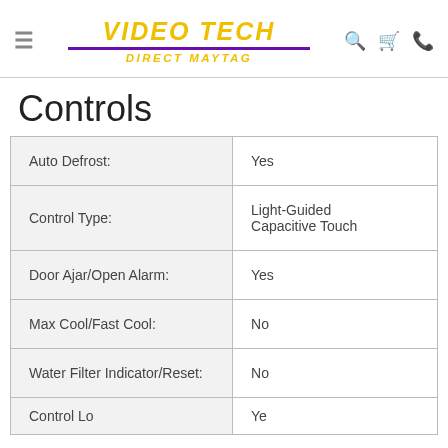VIDEO TECH DIRECT MAYTAG
Controls
| Feature | Value |
| --- | --- |
| Auto Defrost: | Yes |
| Control Type: | Light-Guided Capacitive Touch |
| Door Ajar/Open Alarm: | Yes |
| Max Cool/Fast Cool: | No |
| Water Filter Indicator/Reset: | No |
| Control Location: | Yes |